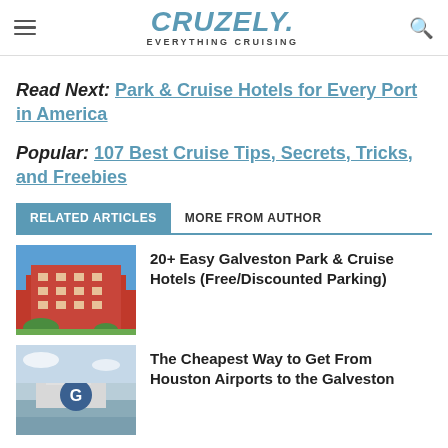CRUZELY. EVERYTHING CRUISING
Read Next: Park & Cruise Hotels for Every Port in America
Popular: 107 Best Cruise Tips, Secrets, Tricks, and Freebies
RELATED ARTICLES | MORE FROM AUTHOR
20+ Easy Galveston Park & Cruise Hotels (Free/Discounted Parking)
The Cheapest Way to Get From Houston Airports to the Galveston